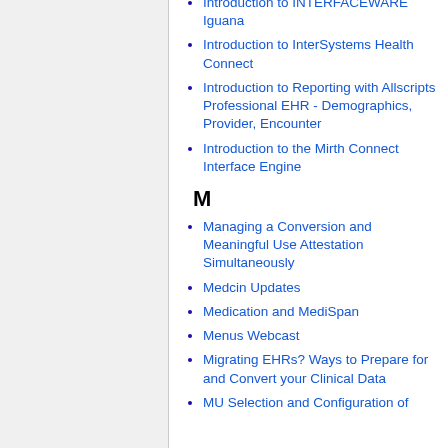Introduction to INTERFACEWARE Iguana
Introduction to InterSystems Health Connect
Introduction to Reporting with Allscripts Professional EHR - Demographics, Provider, Encounter
Introduction to the Mirth Connect Interface Engine
M
Managing a Conversion and Meaningful Use Attestation Simultaneously
Medcin Updates
Medication and MediSpan
Menus Webcast
Migrating EHRs? Ways to Prepare for and Convert your Clinical Data
MU Selection and Configuration of